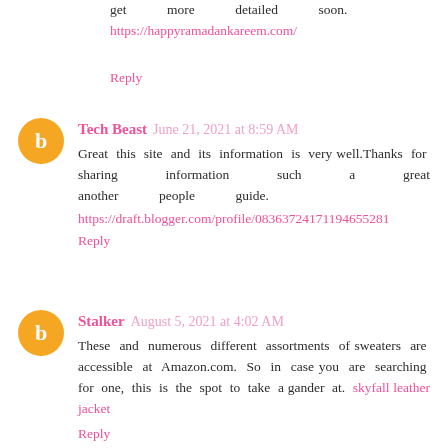get more detailed soon. https://happyramadankareem.com/
Reply
Tech Beast  June 21, 2021 at 8:59 AM
Great this site and its information is very well.Thanks for sharing information such a great another people guide. https://draft.blogger.com/profile/08363724171194655281
Reply
Stalker  August 5, 2021 at 4:02 AM
These and numerous different assortments of sweaters are accessible at Amazon.com. So in case you are searching for one, this is the spot to take a gander at. skyfall leather jacket
Reply